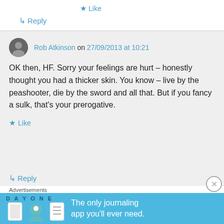★ Like
↳ Reply
Rob Atkinson on 27/09/2013 at 10:21
OK then, HF. Sorry your feelings are hurt – honestly thought you had a thicker skin. You know – live by the peashooter, die by the sword and all that. But if you fancy a sulk, that's your prerogative.
★ Like
↳ Reply
Advertisements
[Figure (screenshot): Day One journaling app advertisement banner with icons and tagline 'The only journaling app you'll ever need.']